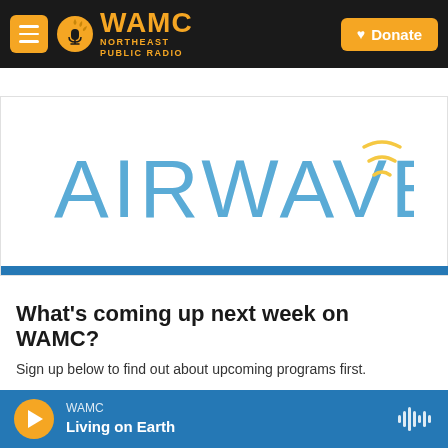[Figure (screenshot): WAMC Northeast Public Radio website header with logo, menu button, and Donate button on dark background]
[Figure (logo): AIRWAVES logo in light blue thin letters with golden wifi/signal arcs radiating from the S]
What's coming up next week on WAMC?
Sign up below to find out about upcoming programs first.
Get Updated
WAMC Living on Earth